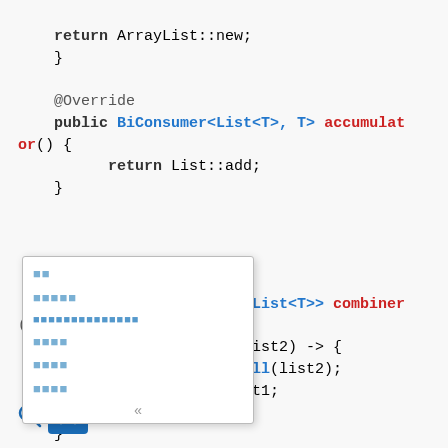[Figure (screenshot): Code editor screenshot showing Java code with syntax highlighting. Code includes return ArrayList::new, @Override public BiConsumer<List<T>, T> accumulator() { return List::add; }, @Override public BinaryOperator<List<T>> combiner() { return (list1, list2) -> { list1.addAll(list2); return list1; }; }, @Override public Function<List<T>, List<T>> finisher() { with an autocomplete popup overlay showing blue square placeholder items and a << navigation arrow.]